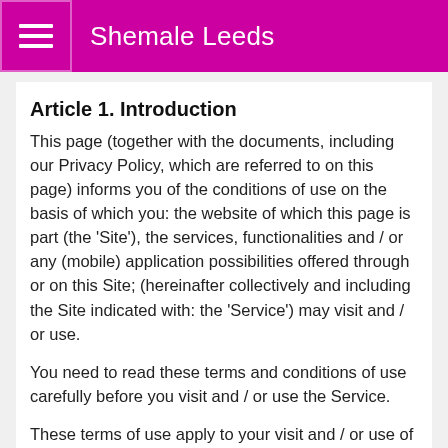Shemale Leeds
Article 1. Introduction
This page (together with the documents, including our Privacy Policy, which are referred to on this page) informs you of the conditions of use on the basis of which you: the website of which this page is part (the 'Site'), the services, functionalities and / or any (mobile) application possibilities offered through or on this Site; (hereinafter collectively and including the Site indicated with: the 'Service') may visit and / or use.
You need to read these terms and conditions of use carefully before you visit and / or use the Service.
These terms of use apply to your visit and / or use of the Service. These Terms of Use affect and determine your legal rights and obligations.
The acceptance of these terms of use constitutes a